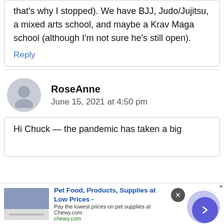that's why I stopped). We have BJJ, Judo/Jujitsu, a mixed arts school, and maybe a Krav Maga school (although I'm not sure he's still open).
Reply
RoseAnne
June 15, 2021 at 4:50 pm
Hi Chuck — the pandemic has taken a big
[Figure (infographic): Advertisement banner for Chewy.com: Pet Food, Products, Supplies at Low Prices - Pay the lowest prices on pet supplies at Chewy.com]